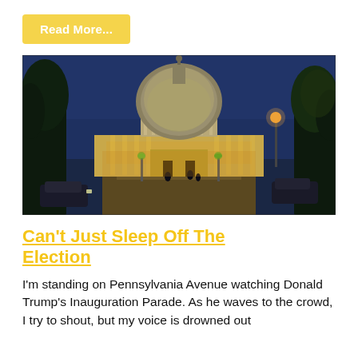Read More...
[Figure (photo): Night photograph of the US Capitol building illuminated with warm lights against a dark blue evening sky, taken from Pennsylvania Avenue with street lights and parked cars visible in the foreground.]
Can't Just Sleep Off The Election
I'm standing on Pennsylvania Avenue watching Donald Trump's Inauguration Parade. As he waves to the crowd, I try to shout, but my voice is drowned out